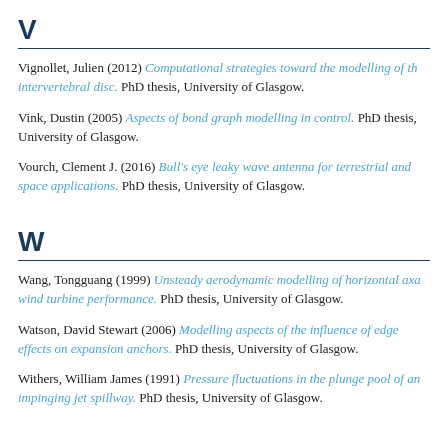V
Vignollet, Julien (2012) Computational strategies toward the modelling of the intervertebral disc. PhD thesis, University of Glasgow.
Vink, Dustin (2005) Aspects of bond graph modelling in control. PhD thesis, University of Glasgow.
Vourch, Clement J. (2016) Bull's eye leaky wave antenna for terrestrial and space applications. PhD thesis, University of Glasgow.
W
Wang, Tongguang (1999) Unsteady aerodynamic modelling of horizontal axis wind turbine performance. PhD thesis, University of Glasgow.
Watson, David Stewart (2006) Modelling aspects of the influence of edge effects on expansion anchors. PhD thesis, University of Glasgow.
Withers, William James (1991) Pressure fluctuations in the plunge pool of an impinging jet spillway. PhD thesis, University of Glasgow.